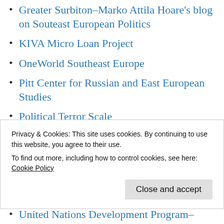Greater Surbiton–Marko Attila Hoare's blog on Souteast European Politics
KIVA Micro Loan Project
OneWorld Southeast Europe
Pitt Center for Russian and East European Studies
Political Terror Scale
Pulitzer Center on Crisis Reporting
Radio 101–Independent Croatian Media
Radio Free Europe/Radio Liberty (RFE/RL)
Privacy & Cookies: This site uses cookies. By continuing to use this website, you agree to their use.
To find out more, including how to control cookies, see here:
Cookie Policy
Close and accept
United Nations Development Program–